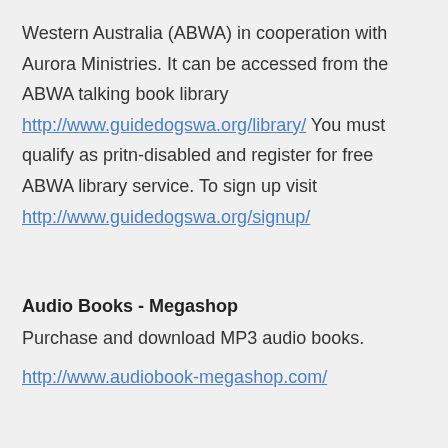Western Australia (ABWA) in cooperation with Aurora Ministries. It can be accessed from the ABWA talking book library http://www.guidedogswa.org/library/ You must qualify as pritn-disabled and register for free ABWA library service. To sign up visit http://www.guidedogswa.org/signup/
Audio Books - Megashop
Purchase and download MP3 audio books.
http://www.audiobook-megashop.com/